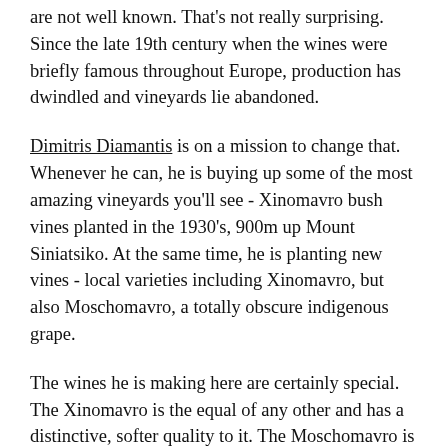are not well known. That's not really surprising. Since the late 19th century when the wines were briefly famous throughout Europe, production has dwindled and vineyards lie abandoned.
Dimitris Diamantis is on a mission to change that. Whenever he can, he is buying up some of the most amazing vineyards you'll see - Xinomavro bush vines planted in the 1930's, 900m up Mount Siniatsiko. At the same time, he is planting new vines - local varieties including Xinomavro, but also Moschomavro, a totally obscure indigenous grape.
The wines he is making here are certainly special. The Xinomavro is the equal of any other and has a distinctive, softer quality to it. The Moschomavro is light and elegant with bright red fruit. They are not only delicious, but true artisan wines rooted in a particular place and tradition.
They are the perfect wines for Wine & Greene's first newsletter, which is a journal of inspiration for the interested wine drinker. Never seen in the UK before, they're